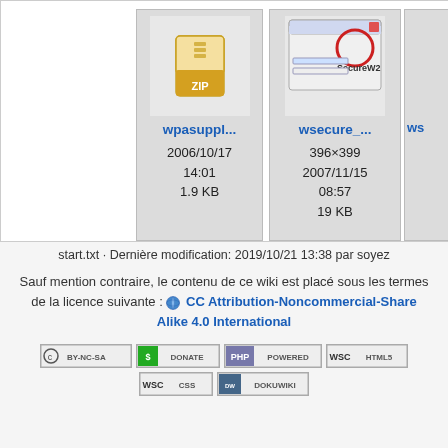[Figure (screenshot): File browser grid showing file thumbnails. First visible card: wpasuppl... zip file, 2006/10/17 14:01, 1.9 KB. Second card: wsecure_... image (SecureW2 screenshot), 396×399, 2007/11/15 08:57, 19 KB. Third card: ws... partial.]
start.txt · Dernière modification: 2019/10/21 13:38 par soyez
Sauf mention contraire, le contenu de ce wiki est placé sous les termes de la licence suivante : CC Attribution-Noncommercial-Share Alike 4.0 International
[Figure (screenshot): Badge row: CC BY-NC-SA, DONATE, PHP POWERED, WSC HTML5, WSC CSS, DOKUWIKI badges]